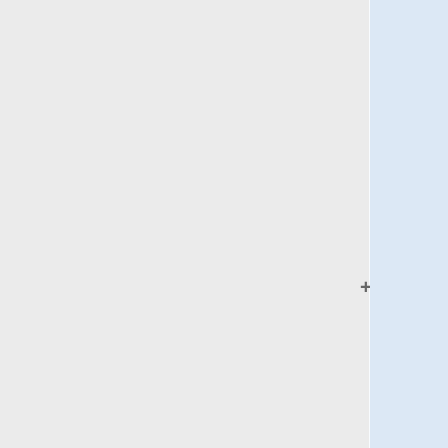the mechanical beak on which it has a contact angle hysteresis of <math>45^o</math> (advancing contact angle: <math>20^o</math>, receding: <math>65^o</math>). The wedge is made to oscillate at a nominal frequency <math>\omega</math>. The drop is seen to "ratchet" up the beak towards the apex of the wedge is a slip-